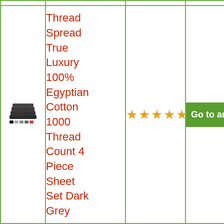| Image | Product Name | Rating | Action |
| --- | --- | --- | --- |
| [product image] | Thread Spread True Luxury 100% Egyptian Cotton 1000 Thread Count 4 Piece Sheet Set Dark Grey | ★★★★★ | Go to amaz... |